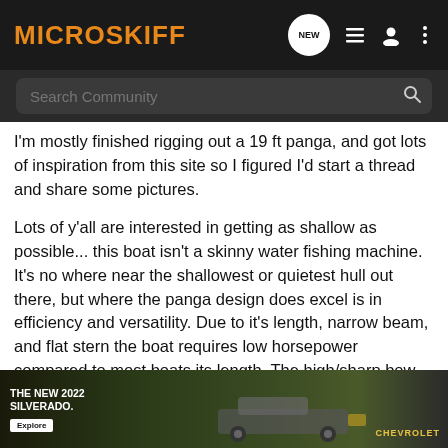MICROSKIFF
I'm mostly finished rigging out a 19 ft panga, and got lots of inspiration from this site so I figured I'd start a thread and share some pictures.
Lots of y'all are interested in getting as shallow as possible... this boat isn't a skinny water fishing machine. It's no where near the shallowest or quietest hull out there, but where the panga design does excel is in efficiency and versatility. Due to it's length, narrow beam, and flat stern the boat requires low horsepower compared to most boats its length. The high/sharp bow helps it ride decently in a chop, and the light weight of the hull coupled with the flat stern allows for a reasonable draft of about 7-8 inches. I've taken it out to some rigs 3 or 4 miles into the gulf ... ght redfish i... n.
[Figure (photo): Advertisement banner for The New 2022 Silverado by Chevrolet, showing a Silverado truck in a dark outdoor setting with an Explore button]